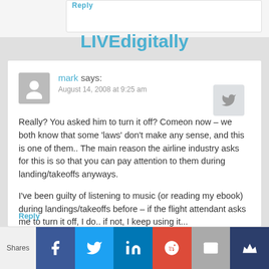LIVEdigitally
mark says:
August 14, 2008 at 9:25 am
Really? You asked him to turn it off? Comeon now – we both know that some 'laws' don't make any sense, and this is one of them.. The main reason the airline industry asks for this is so that you can pay attention to them during landing/takeoffs anyways.

I've been guilty of listening to music (or reading my ebook) during landings/takeoffs before – if the flight attendant asks me to turn it off, I do.. if not, I keep using it...

-mark
Reply
Shares | Facebook | Twitter | LinkedIn | Google+ | Email | Crown